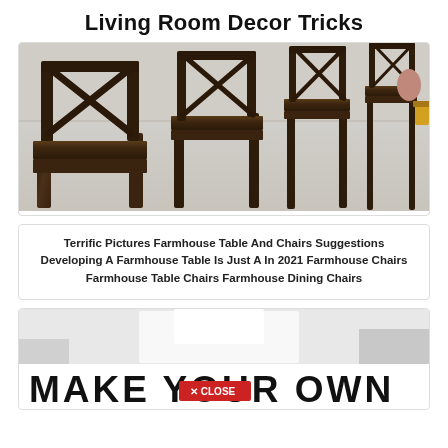Living Room Decor Tricks
[Figure (photo): Farmhouse wooden chairs lined up in a row on a concrete floor, showing dark-stained wood frames and flat seats]
Terrific Pictures Farmhouse Table And Chairs Suggestions Developing A Farmhouse Table Is Just A In 2021 Farmhouse Chairs Farmhouse Table Chairs Farmhouse Dining Chairs
[Figure (photo): Partial view of a DIY furniture image with text reading MAKE YOUR OWN and a red CLOSE button overlay]